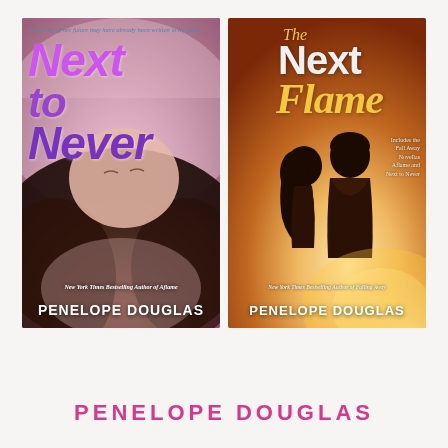[Figure (illustration): Book cover for 'Next to Never' by Penelope Douglas. Purple/pink gradient background with a woman lying down with long hair. Text: tagline 'The story of her future may have already been written in the past...', title 'Next to Never' in large purple italic script, author credit 'New York Times Bestselling Author of Aflame', and 'PENELOPE DOUGLAS' in white bold capitals at bottom.]
[Figure (illustration): Book cover for 'The Next Flame' by Penelope Douglas. Warm orange/golden gradient background with silhouettes of a couple facing each other. Text: 'The' in yellow italic script, 'Next' in large white bold, 'Flame' in large yellow italic script, note 'Includes the Fall Away Novellas Aflame and Next to Never', author credit 'New York Times Bestselling Author of Falling Away', and 'PENELOPE DOUGLAS' in white bold capitals at bottom.]
PENELOPE DOUGLAS